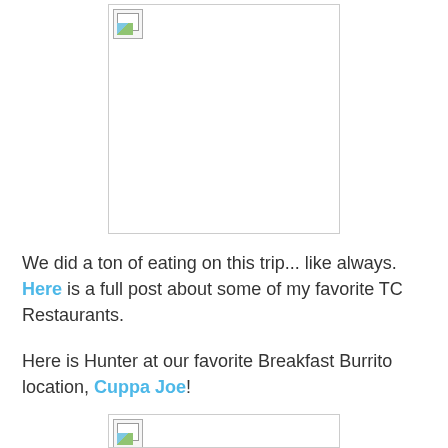[Figure (photo): Broken/missing image placeholder — large white rectangle with border and broken image icon in top-left corner]
We did a ton of eating on this trip... like always. Here is a full post about some of my favorite TC Restaurants.
Here is Hunter at our favorite Breakfast Burrito location, Cuppa Joe!
[Figure (photo): Broken/missing image placeholder — partial view at bottom of page]